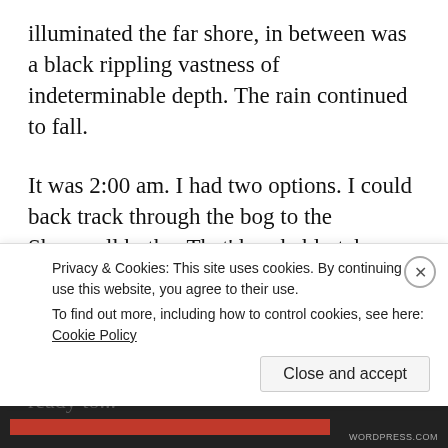illuminated the far shore, in between was a black rippling vastness of indeterminable depth. The rain continued to fall.
It was 2:00 am. I had two options. I could back track through the bog to the Shenavall bothy. That’d probably take me half an hour, and I’d only have to come back in the morning, and who knows I might like the look of the crossing even less in the daylight. With no tent options, I’d have to be ready to...
Privacy & Cookies: This site uses cookies. By continuing to use this website, you agree to their use.
To find out more, including how to control cookies, see here: Cookie Policy
Close and accept